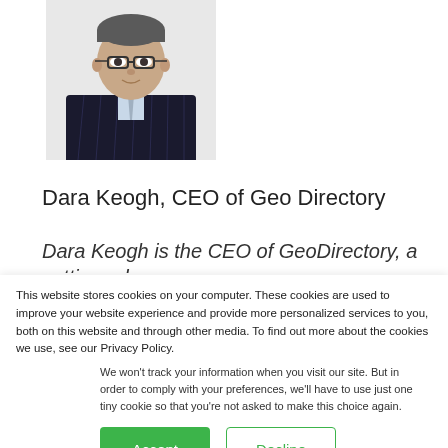[Figure (photo): Headshot of a middle-aged man with glasses, wearing a dark pinstripe suit and light blue shirt, against a white background.]
Dara Keogh, CEO of Geo Directory
Dara Keogh is the CEO of GeoDirectory, a cutting edge
This website stores cookies on your computer. These cookies are used to improve your website experience and provide more personalized services to you, both on this website and through other media. To find out more about the cookies we use, see our Privacy Policy.
We won’t track your information when you visit our site. But in order to comply with your preferences, we’ll have to use just one tiny cookie so that you’re not asked to make this choice again.
Accept
Decline